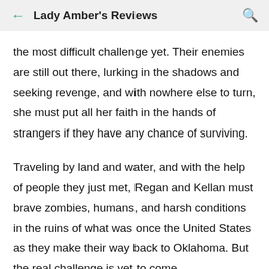Lady Amber's Reviews
the most difficult challenge yet. Their enemies are still out there, lurking in the shadows and seeking revenge, and with nowhere else to turn, she must put all her faith in the hands of strangers if they have any chance of surviving.
Traveling by land and water, and with the help of people they just met, Regan and Kellan must brave zombies, humans, and harsh conditions in the ruins of what was once the United States as they make their way back to Oklahoma. But the real challenge is yet to come.
Andrew isn't finished with them. Only this time Regan is